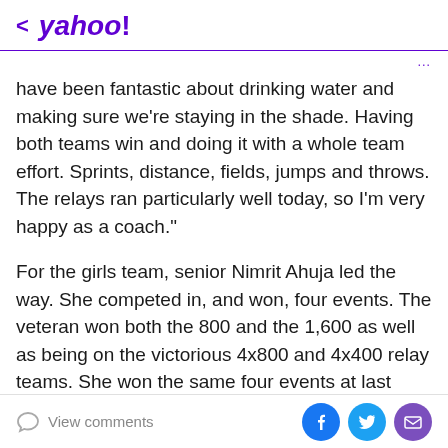< yahoo!
have been fantastic about drinking water and making sure we're staying in the shade. Having both teams win and doing it with a whole team effort. Sprints, distance, fields, jumps and throws. The relays ran particularly well today, so I'm very happy as a coach."
For the girls team, senior Nimrit Ahuja led the way. She competed in, and won, four events. The veteran won both the 800 and the 1,600 as well as being on the victorious 4x800 and 4x400 relay teams. She won the same four events at last week's Howard County championships.
In the mile, she was the only girl to finish under five
View comments